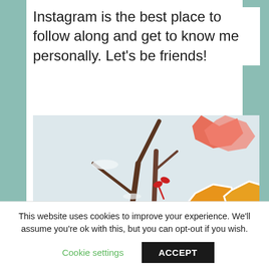Instagram is the best place to follow along and get to know me personally. Let's be friends!
[Figure (photo): Close-up photo of bare winter branches with colorful autumn leaf-shaped ornaments or tags attached with red ribbon. One orange leaf tag reads 'I'm thankful'. Background is light grey/white.]
This website uses cookies to improve your experience. We'll assume you're ok with this, but you can opt-out if you wish.
Cookie settings   ACCEPT